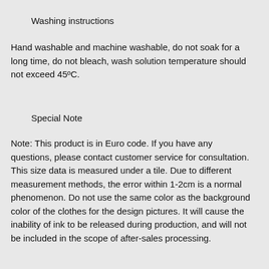Washing instructions
Hand washable and machine washable, do not soak for a long time, do not bleach, wash solution temperature should not exceed 45ºC.
Special Note
Note: This product is in Euro code. If you have any questions, please contact customer service for consultation. This size data is measured under a tile. Due to different measurement methods, the error within 1-2cm is a normal phenomenon. Do not use the same color as the background color of the clothes for the design pictures. It will cause the inability of ink to be released during production, and will not be included in the scope of after-sales processing.